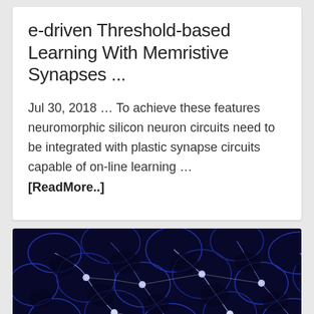e-driven Threshold-based Learning With Memristive Synapses ...
Jul 30, 2018 … To achieve these features neuromorphic silicon neuron circuits need to be integrated with plastic synapse circuits capable of on-line learning …
[ReadMore..]
[Figure (photo): Close-up photograph of neuromorphic/neural network structure showing glowing blue-white interconnected cell-like patterns on a dark blue background, resembling biological neurons or synaptic connections.]